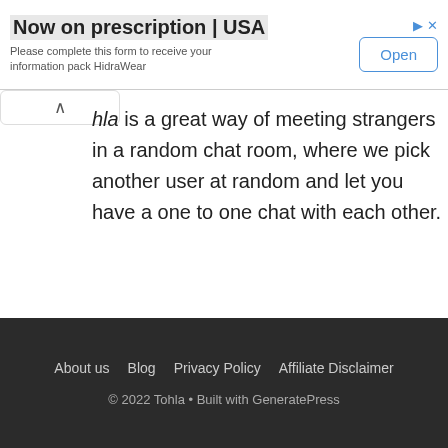[Figure (other): Advertisement banner: 'Now on prescription | USA' with subtitle 'Please complete this form to receive your information pack HidraWear' and an Open button]
hla is a great way of meeting strangers in a random chat room, where we pick another user at random and let you have a one to one chat with each other.
Start Chat with strangers here
About us  Blog  Privacy Policy  Affiliate Disclaimer
© 2022 Tohla • Built with GeneratePress